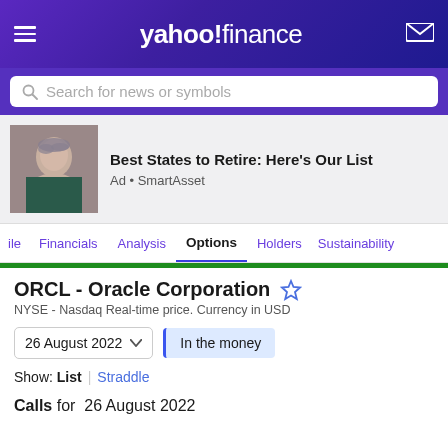yahoo! finance
Search for news or symbols
[Figure (photo): Advertisement photo of a woman smiling, middle-aged, gray hair, wearing a teal top]
Best States to Retire: Here's Our List
Ad • SmartAsset
ile  Financials  Analysis  Options  Holders  Sustainability
ORCL - Oracle Corporation
NYSE - Nasdaq Real-time price. Currency in USD
26 August 2022  In the money
Show: List | Straddle
Calls for 26 August 2022